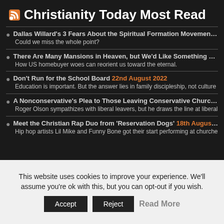Christianity Today Most Read
Dallas Willard's 3 Fears About the Spiritual Formation Movement 5th O... Could we miss the whole point?
There Are Many Mansions in Heaven, but We'd Like Something Soone... How US homebuyer woes can reorient us toward the eternal.
Don't Run for the School Board 22nd August 2022 Education is important. But the answer lies in family discipleship, not culture
A Nonconservative's Plea to Those Leaving Conservative Churches 10... Roger Olson sympathizes with liberal leavers, but he draws the line at liberal
Meet the Christian Rap Duo from 'Reservation Dogs' 18th August 2022 Hip hop artists Lil Mike and Funny Bone got their start performing at churche
This website uses cookies to improve your experience. We'll assume you're ok with this, but you can opt-out if you wish.
Accept  Reject  Read More